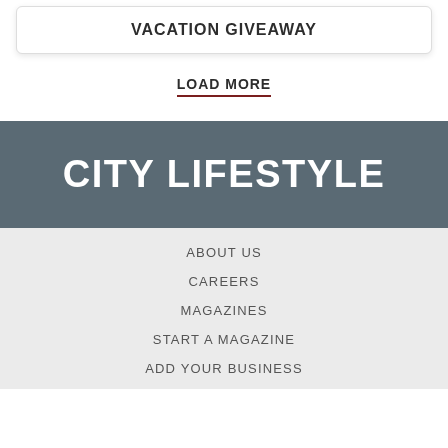VACATION GIVEAWAY
LOAD MORE
CITY LIFESTYLE
ABOUT US
CAREERS
MAGAZINES
START A MAGAZINE
ADD YOUR BUSINESS